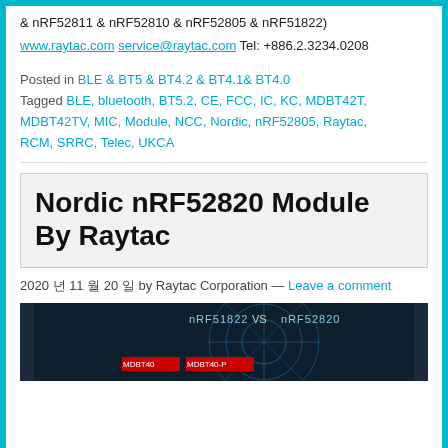& nRF52811 & nRF52810 & nRF52805 & nRF51822)
www.raytac.com service@raytac.com Tel: +886.2.3234.0208
Posted in BLE & BT5 & BT4.2 & BT4.1& BT4.0
Tagged BLE, bluetooth, BT5.2, CE, FCC, IC, KC, MDBT42T, MDBT42TV, MIC, Module, NCC, Nordic, nRF52805, Raytac, RCM, SRRC, Telec, UKCA
Nordic nRF52820 Module By Raytac
2020 년 11 월 20 일 by Raytac Corporation — Leave a comment
[Figure (screenshot): Screenshot of a comparison graphic showing nRF51822 VS nRF52820 with product modules MDBT40 and MDBT40-P visible against a dark background with a radar-like circular graphic.]